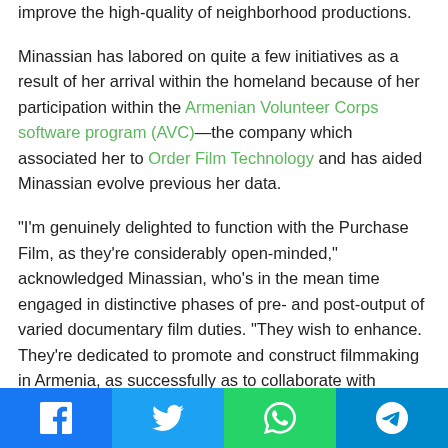improve the high-quality of neighborhood productions.
Minassian has labored on quite a few initiatives as a result of her arrival within the homeland because of her participation within the Armenian Volunteer Corps software program (AVC)—the company which associated her to Order Film Technology and has aided Minassian evolve previous her data.
"I'm genuinely delighted to function with the Purchase Film, as they're considerably open-minded," acknowledged Minassian, who's in the mean time engaged in distinctive phases of pre- and post-output of varied documentary film duties. "They wish to enhance. They're dedicated to promote and construct filmmaking in Armenia, as successfully as to collaborate with abroad productions on international jobs — which is what